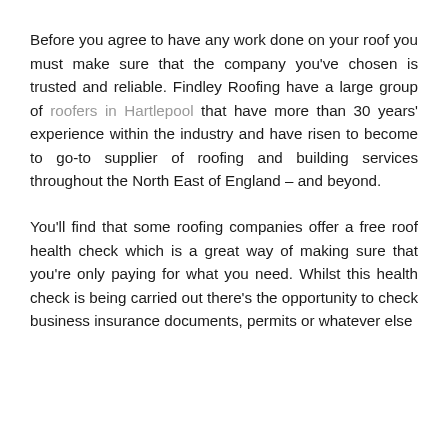Before you agree to have any work done on your roof you must make sure that the company you've chosen is trusted and reliable. Findley Roofing have a large group of roofers in Hartlepool that have more than 30 years' experience within the industry and have risen to become to go-to supplier of roofing and building services throughout the North East of England – and beyond.
You'll find that some roofing companies offer a free roof health check which is a great way of making sure that you're only paying for what you need. Whilst this health check is being carried out there's the opportunity to check business insurance documents, permits or whatever else